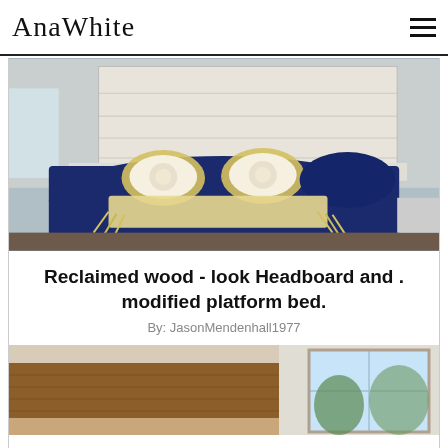AnaWhite
[Figure (photo): A bed with white reclaimed wood headboard, navy blue bedding, yellow/cream decorative pillows and a fringed cream throw blanket draped across the foot of the bed.]
Reclaimed wood - look Headboard and . modified platform bed.
By: JasonMendenhall1977
[Figure (photo): A wood table or surface with a window visible in the background, showing a bright room.]